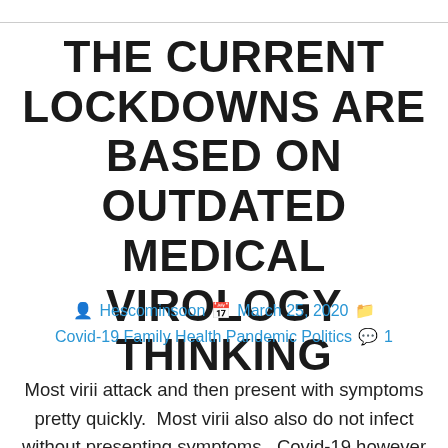THE CURRENT LOCKDOWNS ARE BASED ON OUTDATED MEDICAL VIROLOGY THINKING
Hescominsoon   March 25, 2020   Covid-19 Family Health Pandemic Politics   1
Most virii attack and then present with symptoms pretty quickly.  Most virii also also do not infect without presenting symptoms.  Covid-19 however is